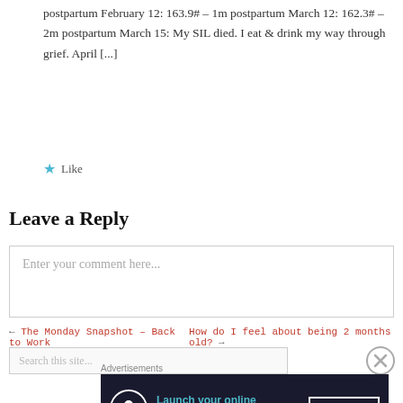postpartum February 12: 163.9# – 1m postpartum March 12: 162.3# – 2m postpartum March 15: My SIL died. I eat & drink my way through grief. April [...]
Like
Leave a Reply
Enter your comment here...
← The Monday Snapshot – Back to Work   How do I feel about being 2 months old? →
Search this site...
Advertisements
[Figure (infographic): Advertisement banner: dark navy background with circular icon, teal text 'Launch your online course with WordPress' and 'Learn More' button in white border.]